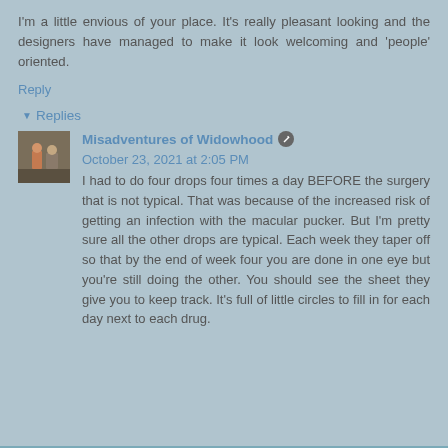I'm a little envious of your place. It's really pleasant looking and the designers have managed to make it look welcoming and 'people' oriented.
Reply
▾ Replies
Misadventures of Widowhood  ✏  October 23, 2021 at 2:05 PM
I had to do four drops four times a day BEFORE the surgery that is not typical. That was because of the increased risk of getting an infection with the macular pucker. But I'm pretty sure all the other drops are typical. Each week they taper off so that by the end of week four you are done in one eye but you're still doing the other. You should see the sheet they give you to keep track. It's full of little circles to fill in for each day next to each drug.